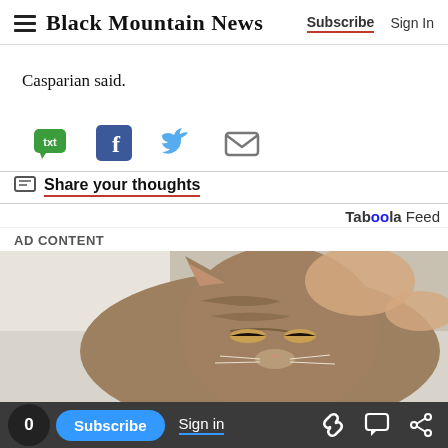Black Mountain News | Subscribe | Sign In
Casparian said.
[Figure (infographic): Social sharing icons row: SMS/txt (green speech bubble), Facebook (blue F), Twitter (blue bird), Email (gray envelope)]
Share your thoughts
Taboola Feed
AD CONTENT
[Figure (photo): Close-up photo of a tabby cat with eyes partially closed, resting against a person wearing a white sweater, being petted]
0 | Subscribe | Sign in